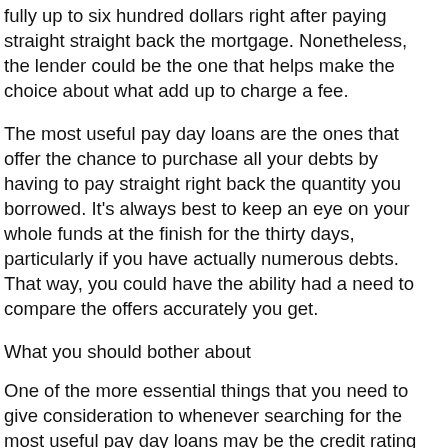fully up to six hundred dollars right after paying straight straight back the mortgage. Nonetheless, the lender could be the one that helps make the choice about what add up to charge a fee.
The most useful pay day loans are the ones that offer the chance to purchase all your debts by having to pay straight right back the quantity you borrowed. It's always best to keep an eye on your whole funds at the finish for the thirty days, particularly if you have actually numerous debts. That way, you could have the ability had a need to compare the offers accurately you get.
What you should bother about
One of the more essential things that you need to give consideration to whenever searching for the most useful pay day loans may be the credit rating of this applicant. Numerous candidates choose a loan provider which will be hard to handle. The main reason why these loan providers are hard to